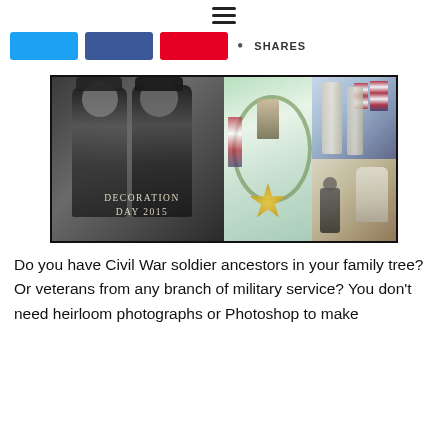≡ (hamburger menu icon)
[Figure (screenshot): Share bar with Twitter (blue), Facebook (dark blue), Pinterest (red) buttons and SHARES label]
[Figure (photo): Composite image: left side black-and-white photo of two Civil War soldiers in uniform with overlay text 'Decoration Day 2015'; center section shows a colorful illustrated medal/badge with soldier figure and American flag; right side shows two photos: top with American flags at a monument, bottom with a figure at a gravestone.]
Do you have Civil War soldier ancestors in your family tree? Or veterans from any branch of military service? You don't need heirloom photographs or Photoshop to make